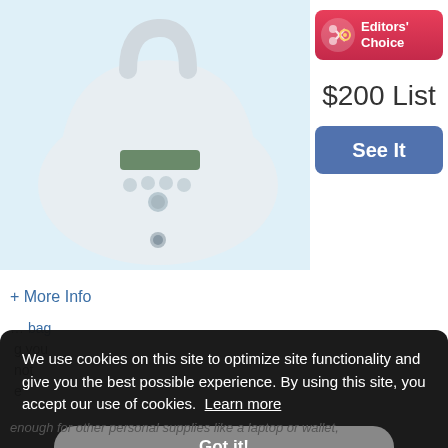[Figure (photo): Product photo of a white rounded breast pump device with a handle on top, display screen and buttons on the front, on a light blue background]
[Figure (infographic): Editors' Choice badge — pink/red rounded rectangle with scissors icon and white text reading Editors' Choice]
$200 List
See It
+ More Info
We use cookies on this site to optimize site functionality and give you the best possible experience. By using this site, you accept our use of cookies. Learn more
Got it!
enough for other personal supplies like a laptop or wallet,